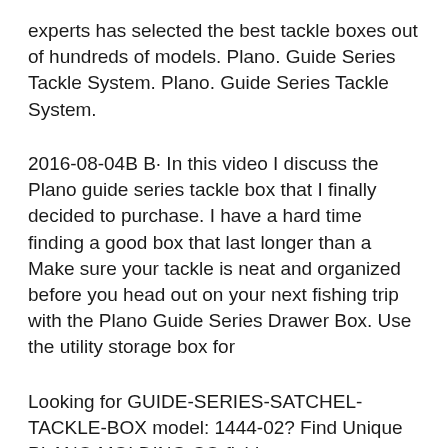experts has selected the best tackle boxes out of hundreds of models. Plano. Guide Series Tackle System. Plano. Guide Series Tackle System.
2016-08-04B B· In this video I discuss the Plano guide series tackle box that I finally decided to purchase. I have a hard time finding a good box that last longer than a Make sure your tackle is neat and organized before you head out on your next fishing trip with the Plano Guide Series Drawer Box. Use the utility storage box for
Looking for GUIDE-SERIES-SATCHEL-TACKLE-BOX model: 1444-02? Find Unique PLANO MOLDING CO fishing